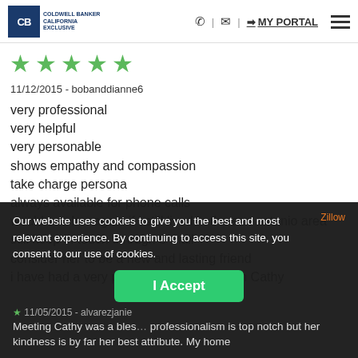Coldwell Banker | MY PORTAL
[Figure (other): Five green star rating icons]
11/12/2015 - bobanddianne6
very professional
very helpful
very personable
shows empathy and compassion
take charge persona
always available for phone calls
would use her again if i still lived in the san antonio area
still keep in touch through e-mail
consider her to be a new and lasting friend
i have had a very positive experience with Cathy
Our website uses cookies to give you the best and most relevant experience. By continuing to access this site, you consent to our use of cookies.
11/05/2015 - alvarezjanie
Meeting Cathy was a bles... professionalism is top notch but her kindness is by far her best attribute. My home